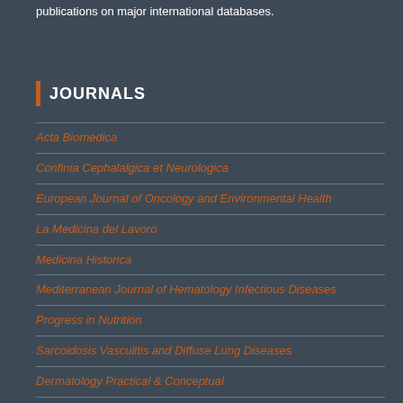publications on major international databases.
JOURNALS
Acta Biomedica
Confinia Cephalalgica et Neurologica
European Journal of Oncology and Environmental Health
La Medicina del Lavoro
Medicina Historica
Mediterranean Journal of Hematology Infectious Diseases
Progress in Nutrition
Sarcoidosis Vasculitis and Diffuse Lung Diseases
Dermatology Practical & Conceptual